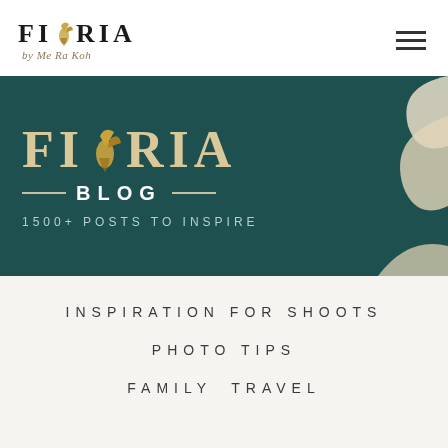[Figure (logo): FIORIA logo with golden bird icon and cursive tagline 'by Me Ra Koh']
[Figure (screenshot): FIORIA BLOG banner on dark teal background with decorative cream swirl shapes, golden bird icon, text '1500+ POSTS TO INSPIRE']
INSPIRATION FOR SHOOTS
PHOTO TIPS
FAMILY  TRAVEL